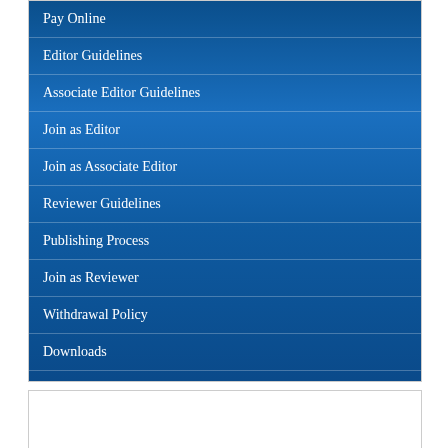Pay Online
Editor Guidelines
Associate Editor Guidelines
Join as Editor
Join as Associate Editor
Reviewer Guidelines
Publishing Process
Join as Reviewer
Withdrawal Policy
Downloads
Entreaty